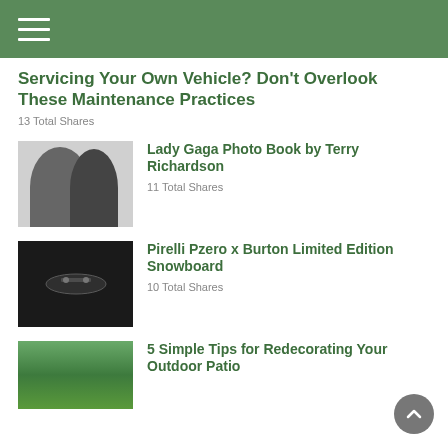Navigation menu header bar
Servicing Your Own Vehicle? Don't Overlook These Maintenance Practices
13 Total Shares
[Figure (photo): Black and white photo of two people posing together]
Lady Gaga Photo Book by Terry Richardson
11 Total Shares
[Figure (photo): Close-up dark photo of a snowboard with bindings]
Pirelli Pzero x Burton Limited Edition Snowboard
10 Total Shares
[Figure (photo): Outdoor patio or garden with green trees and grass]
5 Simple Tips for Redecorating Your Outdoor Patio